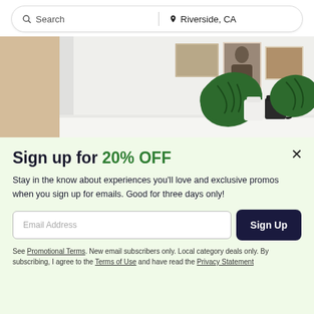[Figure (screenshot): Search bar with 'Search' placeholder on the left and 'Riverside, CA' location on the right, separated by a vertical divider]
[Figure (photo): Interior room scene showing framed photos on wall, monstera plant in white vase and black pitcher on a white surface]
Sign up for 20% OFF
Stay in the know about experiences you'll love and exclusive promos when you sign up for emails. Good for three days only!
Email Address
Sign Up
See Promotional Terms. New email subscribers only. Local category deals only. By subscribing, I agree to the Terms of Use and have read the Privacy Statement